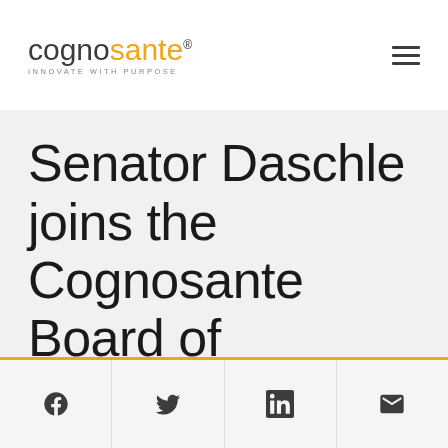cognosante INNOVATE WITH PURPOSE
Senator Daschle joins the Cognosante Board of Directors
[Figure (other): Social share buttons: Facebook, Twitter, LinkedIn, Email]